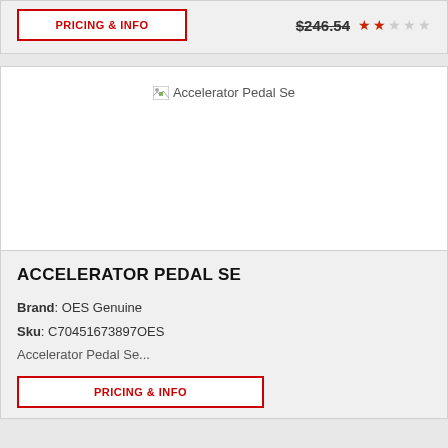PRICING & INFO
$246.54
[Figure (photo): Broken image placeholder labeled 'Accelerator Pedal Se']
ACCELERATOR PEDAL SE
Brand: OES Genuine
Sku: C70451673897OES
Accelerator Pedal Se...
PRICING & INFO